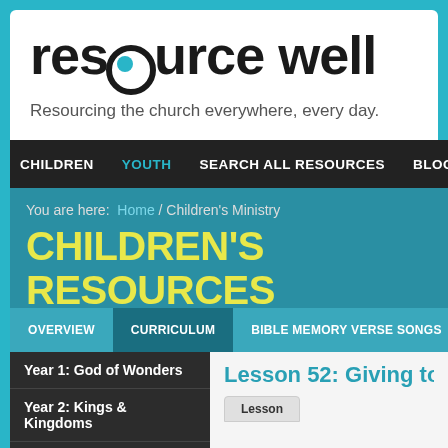[Figure (logo): Resource Well logo with water drop in letter 'o', text reads 'resource well']
Resourcing the church everywhere, every day.
CHILDREN | YOUTH | SEARCH ALL RESOURCES | BLOG | C
You are here: Home / Children's Ministry
CHILDREN'S RESOURCES
OVERVIEW | CURRICULUM | BIBLE MEMORY VERSE SONGS | OTHER RESO
Year 1: God of Wonders
Year 2: Kings & Kingdoms
Kings & Kingdoms Part One: Gospels, Life of Jesus
Lesson 52: Giving to
Lesson